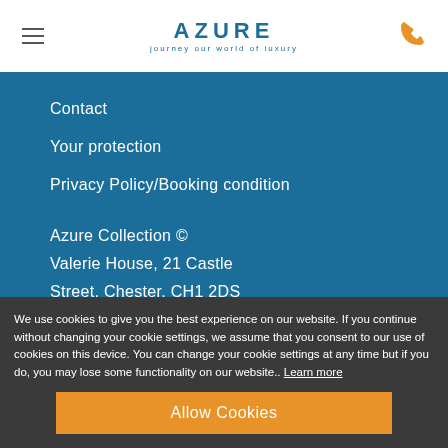AZURE journey our world of luxury
Contact
Your protection
Privacy Policy/Booking condition
Azure Collection ©
Valerie House, 21 Castle
Street, Chester, CH1 2DS
01244 322770
We use cookies to give you the best experience on our website. If you continue without changing your cookie settings, we assume that you consent to our use of cookies on this device. You can change your cookie settings at any time but if you do, you may lose some functionality on our website.. Learn more
Allow Cookies